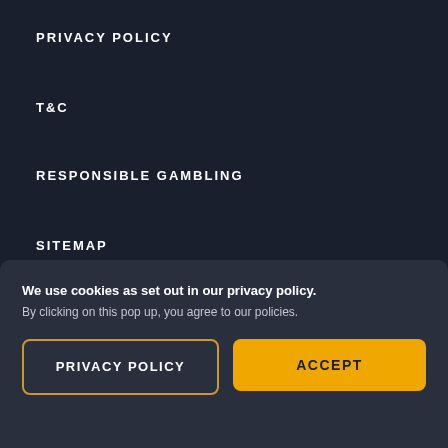PRIVACY POLICY
T&C
RESPONSIBLE GAMBLING
SITEMAP
We use cookies as set out in our privacy policy. By clicking on this pop up, you agree to our policies.
PRIVACY POLICY
ACCEPT